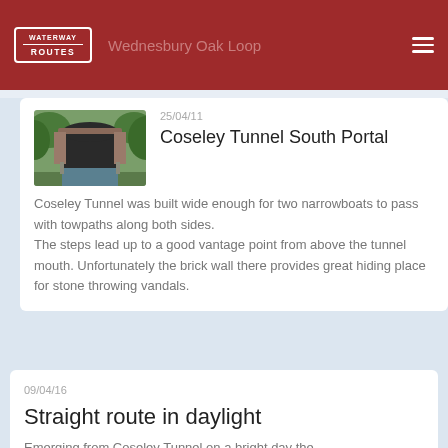Waterway Routes — Wednesbury Oak Loop
25/04/11
Coseley Tunnel South Portal
Coseley Tunnel was built wide enough for two narrowboats to pass with towpaths along both sides.
The steps lead up to a good vantage point from above the tunnel mouth. Unfortunately the brick wall there provides great hiding place for stone throwing vandals.
[Figure (photo): Photo of canal tunnel entrance with green vegetation on sides and dark tunnel mouth]
09/04/16
Straight route in daylight
Emerging from Coseley Tunnel on a bright day the